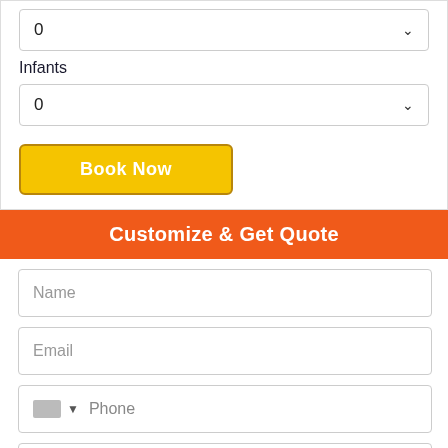0
Infants
0
Book Now
Customize & Get Quote
Name
Email
Phone